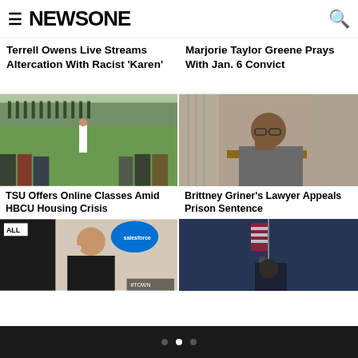NEWSONE
Terrell Owens Live Streams Altercation With Racist 'Karen'
Marjorie Taylor Greene Prays With Jan. 6 Convict
[Figure (photo): People on a grass field, marching band in background, person in white pants in foreground]
[Figure (photo): Woman with glasses and tattoos sitting behind glass in courtroom]
TSU Offers Online Classes Amid HBCU Housing Crisis
Brittney Griner's Lawyer Appeals Prison Sentence
[Figure (photo): Woman with braids at Salesforce event]
[Figure (photo): Person at a podium with US flag in background]